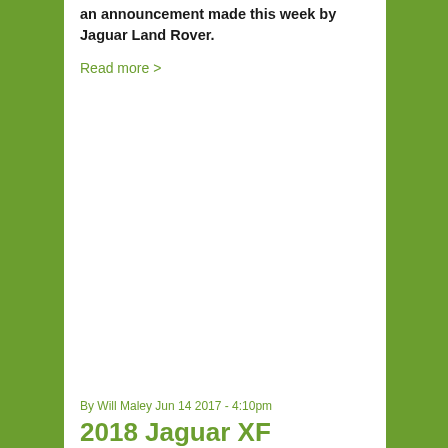an announcement made this week by Jaguar Land Rover.
Read more >
By Will Maley Jun 14 2017 - 4:10pm
2018 Jaguar XF